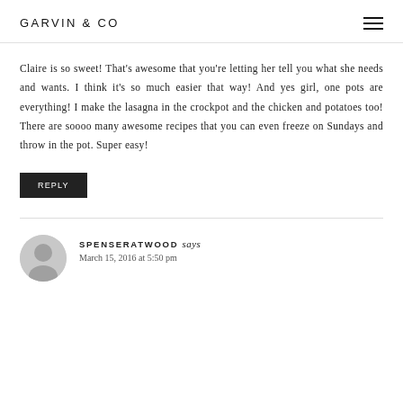GARVIN & CO
Claire is so sweet! That's awesome that you're letting her tell you what she needs and wants. I think it's so much easier that way! And yes girl, one pots are everything! I make the lasagna in the crockpot and the chicken and potatoes too! There are soooo many awesome recipes that you can even freeze on Sundays and throw in the pot. Super easy!
REPLY
SPENSERATWOOD says
March 15, 2016 at 5:50 pm